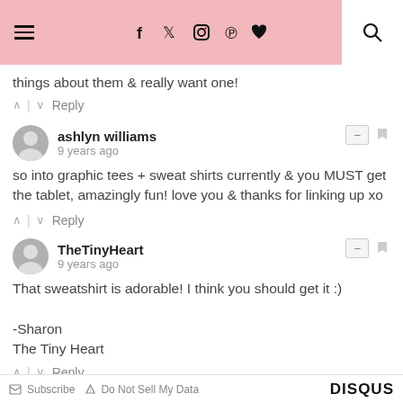navigation header with menu, social icons (f, twitter, instagram, pinterest, heart), and search
things about them & really want one!
^ | v Reply
ashlyn williams
9 years ago
so into graphic tees + sweat shirts currently & you MUST get the tablet, amazingly fun! love you & thanks for linking up xo
^ | v Reply
TheTinyHeart
9 years ago
That sweatshirt is adorable! I think you should get it :)

-Sharon
The Tiny Heart
^ | v Reply
Subscribe   Do Not Sell My Data   DISQUS